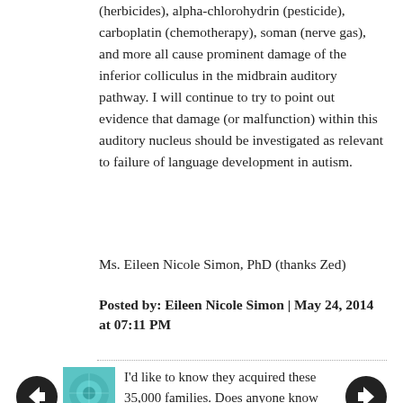(herbicides), alpha-chlorohydrin (pesticide), carboplatin (chemotherapy), soman (nerve gas), and more all cause prominent damage of the inferior colliculus in the midbrain auditory pathway. I will continue to try to point out evidence that damage (or malfunction) within this auditory nucleus should be investigated as relevant to failure of language development in autism.
Ms. Eileen Nicole Simon, PhD (thanks Zed)
Posted by: Eileen Nicole Simon | May 24, 2014 at 07:11 PM
I'd like to know they acquired these 35,000 families. Does anyone know anyone who was ever contacted?